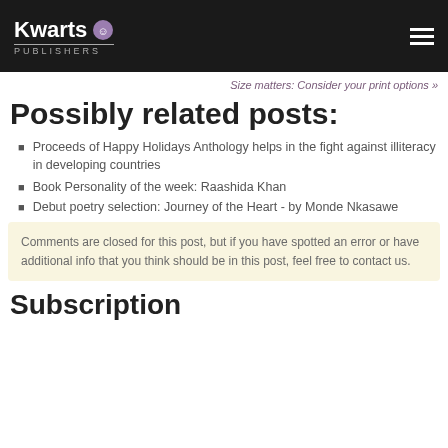Kwarts Publishers
Size matters: Consider your print options »
Possibly related posts:
Proceeds of Happy Holidays Anthology helps in the fight against illiteracy in developing countries
Book Personality of the week: Raashida Khan
Debut poetry selection: Journey of the Heart - by Monde Nkasawe
Comments are closed for this post, but if you have spotted an error or have additional info that you think should be in this post, feel free to contact us.
Subscription